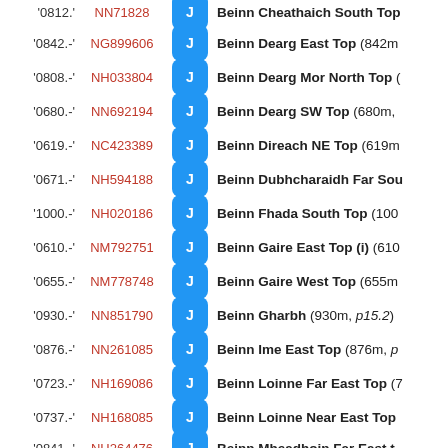'0842.-' NG899606 Beinn Dearg East Top (842m
'0808.-' NH033804 Beinn Dearg Mor North Top (
'0680.-' NN692194 Beinn Dearg SW Top (680m,
'0619.-' NC423389 Beinn Direach NE Top (619m
'0671.-' NH594188 Beinn Dubhcharaidh Far Sou
'1000.-' NH020186 Beinn Fhada South Top (1000
'0610.-' NM792751 Beinn Gaire East Top (i) (610
'0655.-' NM778748 Beinn Gaire West Top (655m
'0930.-' NN851790 Beinn Gharbh (930m, p15.2)
'0876.-' NN261085 Beinn Ime East Top (876m, p
'0723.-' NH169086 Beinn Loinne Far East Top (7
'0737.-' NH168085 Beinn Loinne Near East Top
'0841.-' NH264476 Beinn Mheadhoin Far East t